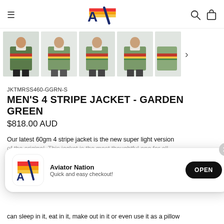Aviator Nation (logo header with hamburger menu and icons)
[Figure (photo): Five thumbnail images of a men's green stripe jacket from different angles, shown in a row with a right arrow navigation indicator]
JKTMRSS460-GGRN-S
MEN'S 4 STRIPE JACKET - GARDEN GREEN
$818.00 AUD
Our latest 60gm 4 stripe jacket is the new super light version of the original. This jacket is the most thoughtful one for all...
[Figure (screenshot): App install popup banner with Aviator Nation logo, text 'Aviator Nation - Quick and easy checkout!' and an OPEN button, with an X close button]
can sleep in it, eat in it, make out in it or even use it as a pillow